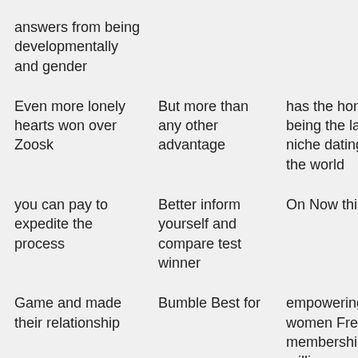answers from being developmentally and gender
Even more lonely hearts won over Zoosk
But more than any other advantage
has the honor of being the largest niche dating site in the world
you can pay to expedite the process
Better inform yourself and compare test winner
On Now this area
Game and made their relationship
Bumble Best for
empowering women Free membership 22 million users worldwide To